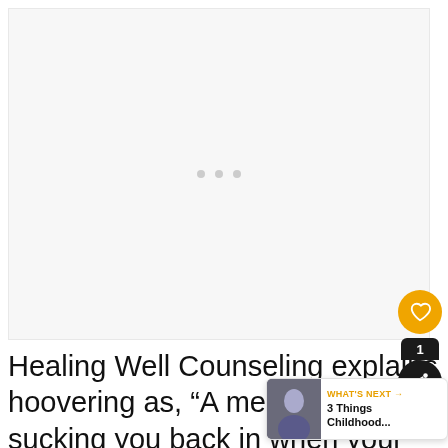[Figure (other): Loading placeholder image area with three gray dots indicating content is loading]
Healing Well Counseling explains hoovering as, “A method of sucking you back in when your
[Figure (screenshot): WHAT'S NEXT overlay widget showing '3 Things Childhood...' with a thumbnail of a person]